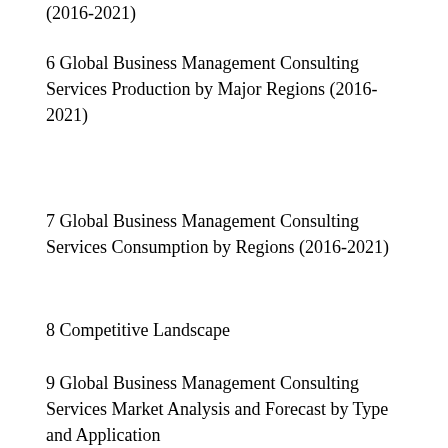(2016-2021)
6 Global Business Management Consulting Services Production by Major Regions (2016-2021)
7 Global Business Management Consulting Services Consumption by Regions (2016-2021)
8 Competitive Landscape
9 Global Business Management Consulting Services Market Analysis and Forecast by Type and Application